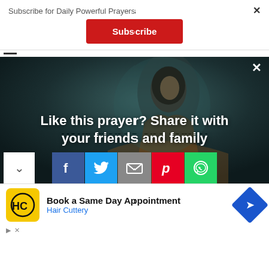Subscribe for Daily Powerful Prayers
[Figure (screenshot): Red Subscribe button]
[Figure (illustration): Prayer share overlay with image of Jesus, text 'Like this prayer? Share it with your friends and family', and social share icons (Facebook, Twitter, Email, Pinterest, WhatsApp)]
[Figure (screenshot): Advertisement: Hair Cuttery - Book a Same Day Appointment, with HC logo and navigation icon]